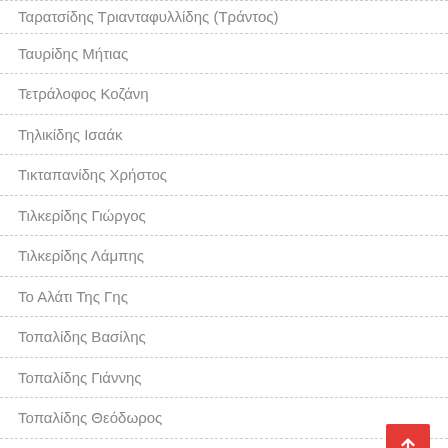Ταρατσίδης Τριανταφυλλίδης (Τράντος)
Ταυρίδης Μήτιας
Τετράλοφος Κοζάνη
Τηλικίδης Ισαάκ
Τικταπανίδης Χρήστος
Τιλκερίδης Γιώργος
Τιλκερίδης Λάμπης
Το Αλάτι Της Γης
Τοπαλίδης Βασίλης
Τοπαλίδης Γιάννης
Τοπαλίδης Θεόδωρος
Τριανταφυλλίδης Γιάννης
Τριανταφυλλίδης Δημήτρης